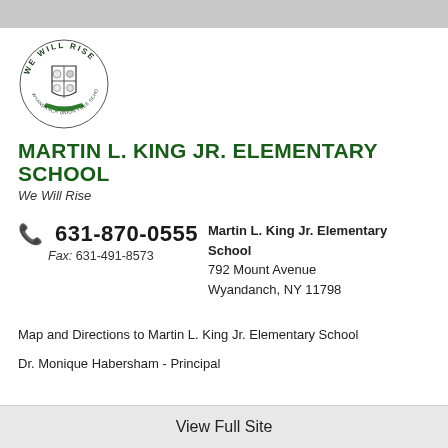[Figure (logo): We Will Rise school crest/logo with circular text 'WE WILL RISE' and a shield emblem with green ribbon banner]
MARTIN L. KING JR. ELEMENTARY SCHOOL
We Will Rise
631-870-0555
Fax: 631-491-8573
Martin L. King Jr. Elementary School
792 Mount Avenue
Wyandanch, NY 11798
Map and Directions to Martin L. King Jr. Elementary School
Dr. Monique Habersham - Principal
View Full Site